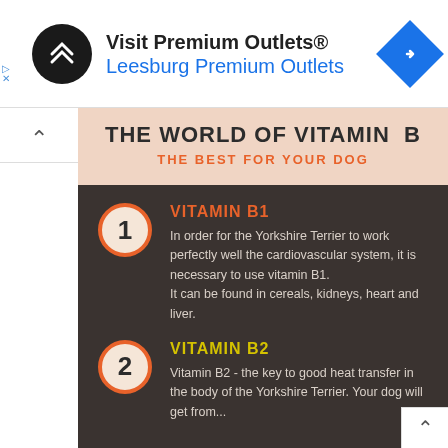[Figure (infographic): Advertisement banner: Visit Premium Outlets® Leesburg Premium Outlets with logo and navigation icon]
THE WORLD OF VITAMIN B
THE BEST FOR YOUR DOG
VITAMIN B1
In order for the Yorkshire Terrier to work perfectly well the cardiovascular system, it is necessary to use vitamin B1. It can be found in cereals, kidneys, heart and liver.
VITAMIN B2
Vitamin B2 - the key to good heat transfer in the body of the Yorkshire Terrier. Your dog will get from...